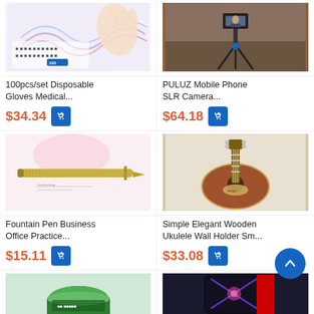[Figure (photo): Product image: box of 100pcs Disposable Gloves Medical (partial view, top cropped)]
100pcs/set Disposable Gloves Medical...
$34.34
[Figure (photo): Product image: PULUZ Mobile Phone SLR Camera tripod mount with phone attached]
PULUZ Mobile Phone SLR Camera...
$64.18
[Figure (photo): Product image: Fountain pen with gold barrel on white surface]
Fountain Pen Business Office Practice...
$15.11
[Figure (photo): Product image: Wooden ukulele / small guitar]
Simple Elegant Wooden Ukulele Wall Holder Sm...
$33.08
[Figure (photo): Product image: Green bottle/jar (partial, bottom of page)]
[Figure (photo): Product image: Black and red phone case with glowing pattern (partial, bottom of page)]